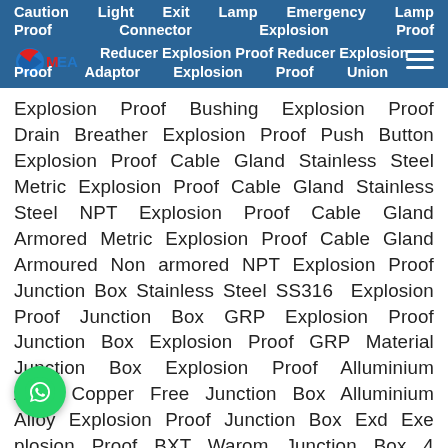Caution Light Exit Lamp Emergency Lamp Proof Connector Explosion Proof Reducer Explosion Proof Reducer Explosion Proof Adaptor Explosion Proof Union
[Figure (logo): MEA company logo - red and blue swoosh with MEA text]
Explosion Proof Bushing Explosion Proof Drain Breather Explosion Proof Push Button Explosion Proof Cable Gland Stainless Steel Metric Explosion Proof Cable Gland Stainless Steel NPT Explosion Proof Cable Gland Armored Metric Explosion Proof Cable Gland Armoured Non armored NPT Explosion Proof Junction Box Stainless Steel SS316 Explosion Proof Junction Box GRP Explosion Proof Junction Box Explosion Proof GRP Material Junction Box Explosion Proof Alluminium Alloy Copper Free Junction Box Alluminium Alloy Explosion Proof Junction Box Exd Exe plosion Proof BXT Warom Junction Box 4 Way 4 Entries Explosion Proof Junction Box 2
[Figure (logo): WhatsApp green circle button icon]